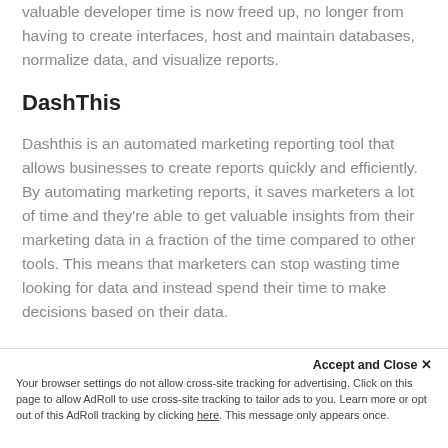valuable developer time is now freed up, no longer from having to create interfaces, host and maintain databases, normalize data, and visualize reports.
DashThis
Dashthis is an automated marketing reporting tool that allows businesses to create reports quickly and efficiently. By automating marketing reports, it saves marketers a lot of time and they're able to get valuable insights from their marketing data in a fraction of the time compared to other tools. This means that marketers can stop wasting time looking for data and instead spend their time to make decisions based on their data.
Accept and Close ✕ Your browser settings do not allow cross-site tracking for advertising. Click on this page to allow AdRoll to use cross-site tracking to tailor ads to you. Learn more or opt out of this AdRoll tracking by clicking here. This message only appears once.